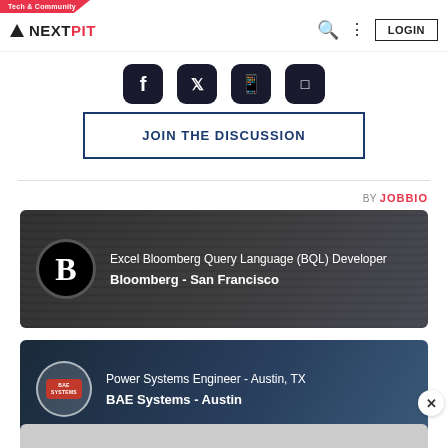Tech & Community — NEXTPIT — LOGIN
[Figure (logo): Social share icons row: Facebook, Twitter, WhatsApp, Link]
JOIN THE DISCUSSION
[Figure (infographic): BY JOBBIO job listing card 1: Excel Bloomberg Query Language (BQL) Developer — Bloomberg - San Francisco]
[Figure (infographic): BY JOBBIO job listing card 2: Power Systems Engineer - Austin, TX — BAE Systems - Austin]